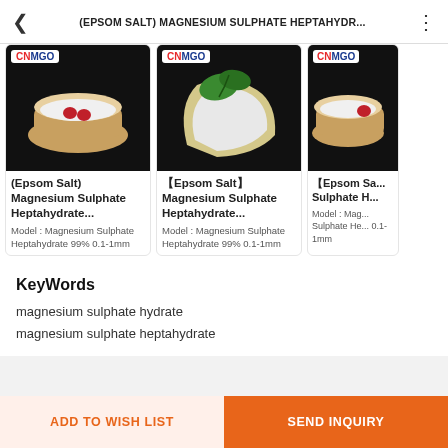(EPSOM SALT) MAGNESIUM SULPHATE HEPTAHYDR...
[Figure (photo): Three product listing cards showing Epsom Salt / Magnesium Sulphate Heptahydrate products with CNMGO branding. Card 1: wooden bowl with white salt and two red pills on black background. Card 2: white crystalline salt in a leaf/scoop on black background with green leaves on top. Card 3: partial view of wooden bowl with white salt and red item on black background.]
(Epsom Salt) Magnesium Sulphate Heptahydrate... Model : Magnesium Sulphate Heptahydrate 99% 0.1-1mm
【Epsom Salt】Magnesium Sulphate Heptahydrate... Model : Magnesium Sulphate Heptahydrate 99% 0.1-1mm
【Epsom Sa... Sulphate H... Model : Mag... Sulphate He... 0.1-1mm
KeyWords
magnesium sulphate hydrate
magnesium sulphate heptahydrate